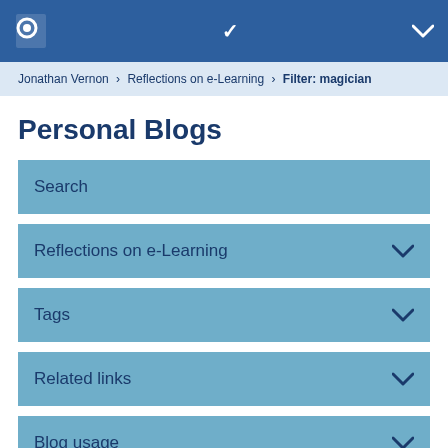Open University logo header with navigation chevron
Jonathan Vernon > Reflections on e-Learning > Filter: magician
Personal Blogs
Search
Reflections on e-Learning
Tags
Related links
Blog usage